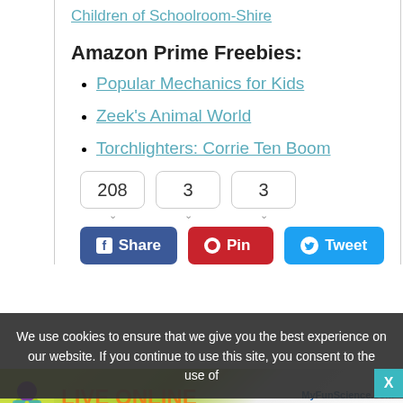Children of Schoolroom-Shire
Amazon Prime Freebies:
Popular Mechanics for Kids
Zeek's Animal World
Torchlighters: Corrie Ten Boom
208   3   3 (share counts)
Share  Pin  Tweet (social buttons)
Category: links
We use cookies to ensure that we give you the best experience on our website. If you continue to use this site, you consent to the use of
[Figure (infographic): Advertisement banner for MyFunScience.com featuring LIVE ONLINE STEM CLASSES with a Learn more button]